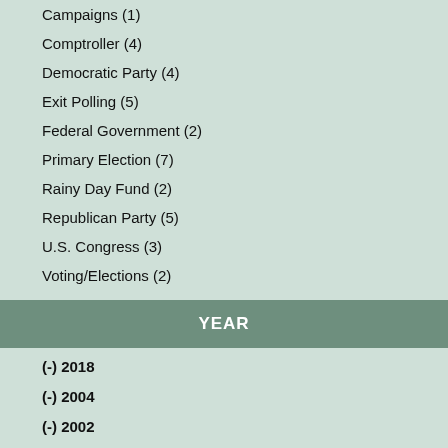Campaigns (1)
Comptroller (4)
Democratic Party (4)
Exit Polling (5)
Federal Government (2)
Primary Election (7)
Rainy Day Fund (2)
Republican Party (5)
U.S. Congress (3)
Voting/Elections (2)
YEAR
(-) 2018
(-) 2004
(-) 2002
(-) 1992
(-) 1982
(-) 1979
2016 (3)